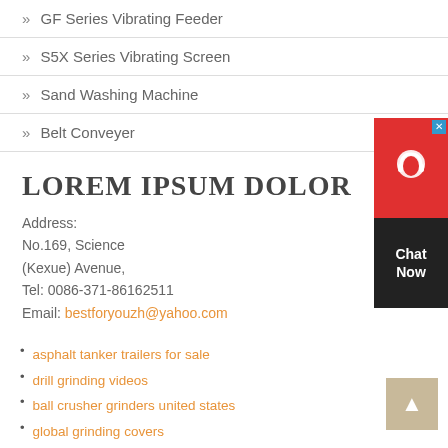» GF Series Vibrating Feeder
» S5X Series Vibrating Screen
» Sand Washing Machine
» Belt Conveyer
LOREM IPSUM DOLOR
Address:
No.169, Science
(Kexue) Avenue,
Tel: 0086-371-86162511
Email: bestforyouzh@yahoo.com
asphalt tanker trailers for sale
drill grinding videos
ball crusher grinders united states
global grinding covers